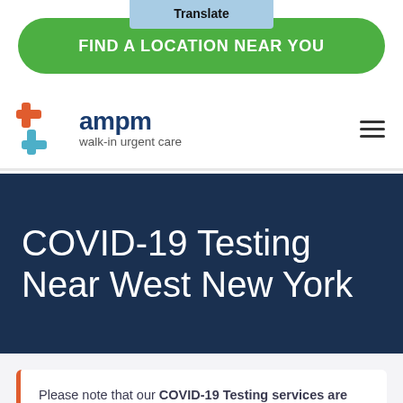Translate
FIND A LOCATION NEAR YOU
[Figure (logo): AMPM walk-in urgent care logo with orange/teal cross icon and dark blue text]
COVID-19 Testing Near West New York
Please note that our COVID-19 Testing services are subject to change. Please visit